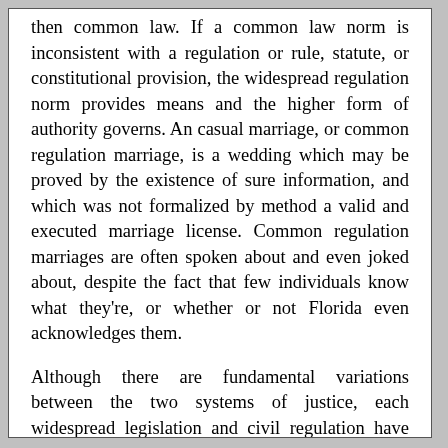then common law. If a common law norm is inconsistent with a regulation or rule, statute, or constitutional provision, the widespread regulation norm provides means and the higher form of authority governs. An casual marriage, or common regulation marriage, is a wedding which may be proved by the existence of sure information, and which was not formalized by method a valid and executed marriage license. Common regulation marriages are often spoken about and even joked about, despite the fact that few individuals know what they're, or whether or not Florida even acknowledges them.
Although there are fundamental variations between the two systems of justice, each widespread legislation and civil regulation have turn out to be international legal traditions that continue to effectively shape the justice